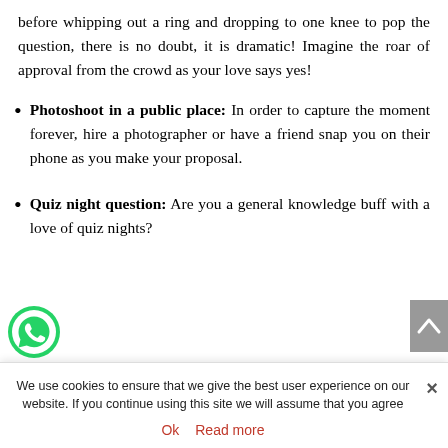before whipping out a ring and dropping to one knee to pop the question, there is no doubt, it is dramatic! Imagine the roar of approval from the crowd as your love says yes!
Photoshoot in a public place: In order to capture the moment forever, hire a photographer or have a friend snap you on their phone as you make your proposal.
Quiz night question: Are you a general knowledge buff with a love of quiz nights?
We use cookies to ensure that we give the best user experience on our website. If you continue using this site we will assume that you agree